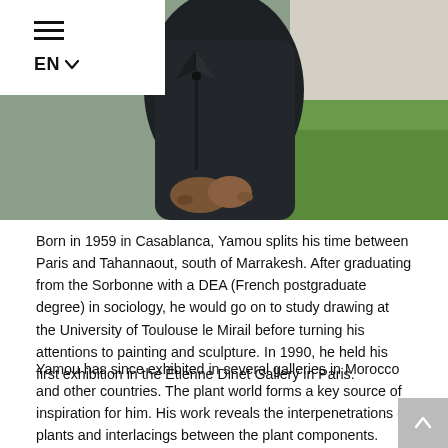[Figure (photo): Photograph of Yamou, a man in a dark jacket, hands clasped in front, standing outdoors with green grass visible in the background.]
≡  EN ∨
Born in 1959 in Casablanca, Yamou splits his time between Paris and Tahannaout, south of Marrakesh. After graduating from the Sorbonne with a DEA (French postgraduate degree) in sociology, he would go on to study drawing at the University of Toulouse le Mirail before turning his attentions to painting and sculpture. In 1990, he held his first exhibition in the Étienne Dinet Gallery in Paris.
Yamou has since exhibited in several galleries in Morocco and other countries. The plant world forms a key source of inspiration for him. His work reveals the interpenetrations of plants and interlacings between the plant components.
His cactus sculptures studded with nails have been praised in a number of international art journals. In his paintings, the artist shows an interest in the organic world. Petals, corolla, are